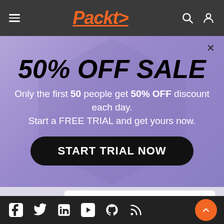Packt
[Figure (screenshot): Packt website promotional popup showing 50% OFF SALE. Purple/lavender background with hexagonal design element. Text reads: '50% OFF SALE. Only the first 50 people get 50% OFF discount each day. Start a FREE TRIAL and get yours now.' Black pill-shaped button: 'START TRIAL NOW'. Close X button top right.]
Hurry Up!! Only 2 slots left
Social media icons: Facebook, Twitter, LinkedIn, YouTube, GitHub, RSS